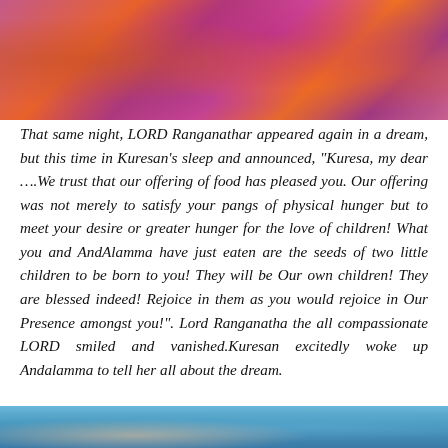[Figure (photo): Colorful traditional Indian deity decorations with vibrant orange, pink, magenta and purple colors, ornaments and flowers]
That same night, LORD Ranganathar appeared again in a dream, but this time in Kuresan's sleep and announced, "Kuresa, my dear ….We trust that our offering of food has pleased you. Our offering was not merely to satisfy your pangs of physical hunger but to meet your desire or greater hunger for the love of children! What you and AndAlamma have just eaten are the seeds of two little children to be born to you! They will be Our own children! They are blessed indeed! Rejoice in them as you would rejoice in Our Presence amongst you!". Lord Ranganatha the all compassionate LORD smiled and vanished.Kuresan excitedly woke up Andalamma to tell her all about the dream.
[Figure (photo): Bottom portion of another image, showing blue sky or water tones]